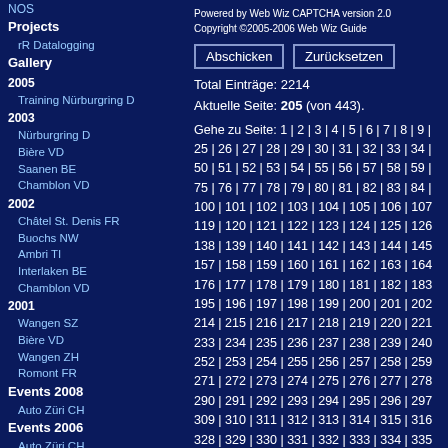NOS
Projects
rR Datalogging
Gallery
2005
Training Nürburgring D
2003
Nürburgring D
Bière VD
Saanen BE
Chamblon VD
2002
Châtel St. Denis FR
Buochs NW
Ambri TI
Interlaken BE
Chamblon VD
2001
Wangen SZ
Bière VD
Wangen ZH
Romont FR
Events 2008
Auto Züri CH
Events 2006
Auto Züri CH
Events 2005
Auto Züri CH
Powered by Web Wiz CAPTCHA version 2.0
Copyright ©2005-2006 Web Wiz Guide
Abschicken   Zurücksetzen
Total Einträge: 2214
Aktuelle Seite: 205 (von 443).
Gehe zu Seite: 1 | 2 | 3 | 4 | 5 | 6 | 7 | 8 | 9 | 25 | 26 | 27 | 28 | 29 | 30 | 31 | 32 | 33 | 34 | 50 | 51 | 52 | 53 | 54 | 55 | 56 | 57 | 58 | 59 | 75 | 76 | 77 | 78 | 79 | 80 | 81 | 82 | 83 | 84 | 100 | 101 | 102 | 103 | 104 | 105 | 106 | 107 | 119 | 120 | 121 | 122 | 123 | 124 | 125 | 126 | 138 | 139 | 140 | 141 | 142 | 143 | 144 | 145 | 157 | 158 | 159 | 160 | 161 | 162 | 163 | 164 | 176 | 177 | 178 | 179 | 180 | 181 | 182 | 183 | 195 | 196 | 197 | 198 | 199 | 200 | 201 | 202 | 214 | 215 | 216 | 217 | 218 | 219 | 220 | 221 | 233 | 234 | 235 | 236 | 237 | 238 | 239 | 240 | 252 | 253 | 254 | 255 | 256 | 257 | 258 | 259 | 271 | 272 | 273 | 274 | 275 | 276 | 277 | 278 | 290 | 291 | 292 | 293 | 294 | 295 | 296 | 297 | 309 | 310 | 311 | 312 | 313 | 314 | 315 | 316 | 328 | 329 | 330 | 331 | 332 | 333 | 334 | 335 | 347 | 348 | 349 | 350 | 351 | 352 | 353 | 354 | 366 | 367 | 368 | 369 | 370 | 371 | 372 | 373